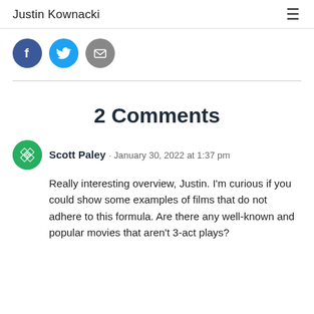Justin Kownacki
[Figure (infographic): Social share buttons: Facebook (dark blue circle with 'f'), Twitter (light blue circle with bird icon), Email (grey circle with envelope icon)]
2 Comments
[Figure (illustration): WordPress/Gravatar style avatar icon for Scott Paley — green circle with diamond grid pattern]
Scott Paley · January 30, 2022 at 1:37 pm
Really interesting overview, Justin. I'm curious if you could show some examples of films that do not adhere to this formula. Are there any well-known and popular movies that aren't 3-act plays?